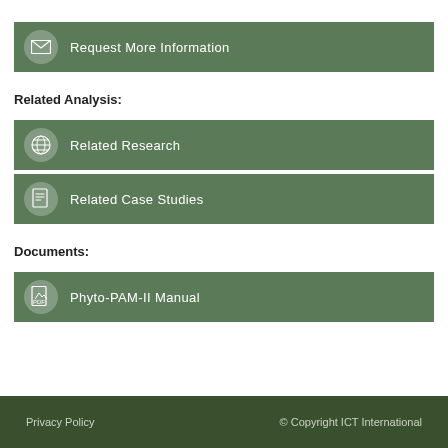Request More Information
Related Analysis:
Related Research
Related Case Studies
Documents:
Phyto-PAM-II Manual
Privacy Policy   © Copyright ICT International